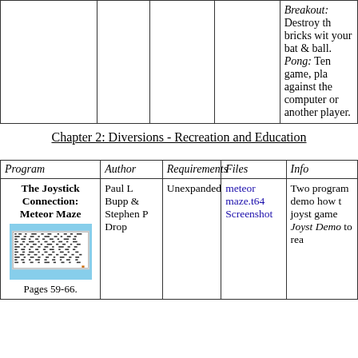| Program | Author | Requirements | Files | Info |
| --- | --- | --- | --- | --- |
|  |  |  |  | Breakout: Destroy the bricks with your bat & ball.
Pong: Tennis game, play against the computer or another player. |
Chapter 2: Diversions - Recreation and Education
| Program | Author | Requirements | Files | Info |
| --- | --- | --- | --- | --- |
| The Joystick Connection: Meteor Maze
Pages 59-66. | Paul L Bupp & Stephen P Drop | Unexpanded | meteor
maze.t64
Screenshot | Two programs demonstrating how to use joystick in games. Joystick Demo to rea... |